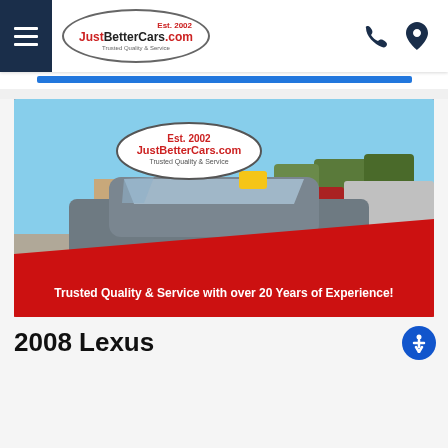JustBetterCars.com — Est. 2002 — Trusted Quality & Service
[Figure (photo): Dealership photo showing a gray 2008 Lexus sedan in a car lot with other vehicles in background, surrounded by JustBetterCars.com branded red and white banner with text: Trusted Quality & Service with over 20 Years of Experience!]
2008 Lexus